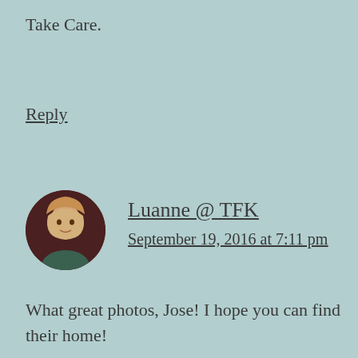Take Care.
Reply
Luanne @ TFK
September 19, 2016 at 7:11 pm
What great photos, Jose! I hope you can find their home!
Reply
mionsjog